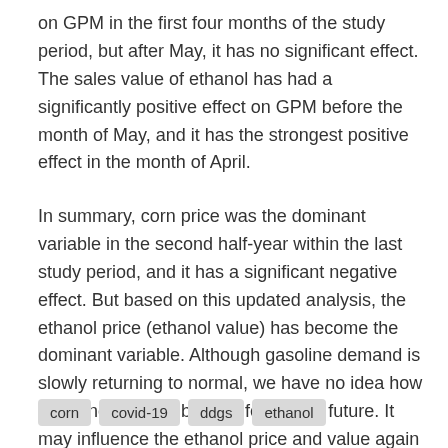on GPM in the first four months of the study period, but after May, it has no significant effect. The sales value of ethanol has had a significantly positive effect on GPM before the month of May, and it has the strongest positive effect in the month of April.
In summary, corn price was the dominant variable in the second half-year within the last study period, and it has a significant negative effect. But based on this updated analysis, the ethanol price (ethanol value) has become the dominant variable. Although gasoline demand is slowly returning to normal, we have no idea how the pandemic will be manifest in the future. It may influence the ethanol price and value again which will lead to the different behaviors of GPM over the next several months or years.
corn | covid-19 | ddgs | ethanol